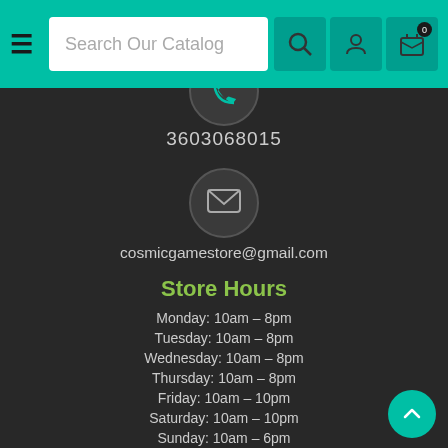Search Our Catalog
3603068015
cosmicgamestore@gmail.com
Store Hours
Monday: 10am - 8pm
Tuesday: 10am - 8pm
Wednesday: 10am - 8pm
Thursday: 10am - 8pm
Friday: 10am - 10pm
Saturday: 10am - 10pm
Sunday: 10am - 6pm